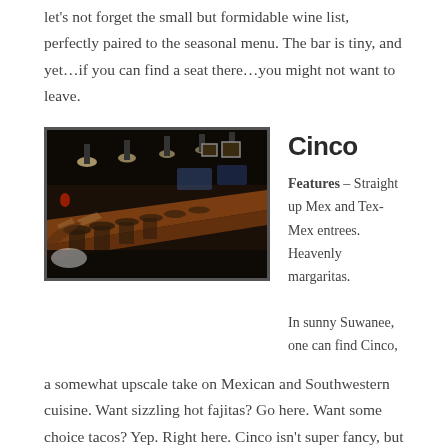let's not forget the small but formidable wine list, perfectly paired to the seasonal menu. The bar is tiny, and yet…if you can find a seat there…you might not want to leave.
[Figure (photo): Interior of Cinco restaurant bar at night, showing a long wooden bar with leather bar stools, pendant lights, and dark atmospheric lighting with red accents]
Cinco
Features – Straight up Mex and Tex-Mex entrees. Heavenly margaritas.
In sunny Suwanee, one can find Cinco, a somewhat upscale take on Mexican and Southwestern cuisine. Want sizzling hot fajitas? Go here. Want some choice tacos? Yep. Right here. Cinco isn't super fancy, but it'll fill you up with some damn good (and super fresh) food. Featured on Cinco's menu are its margaritas, all of which are sharp, strong, and deeeeelicious. If you're staying out late, Cinco also has a secondary bar attached to the restaurant. It's called Cinco Mix. It's great for...